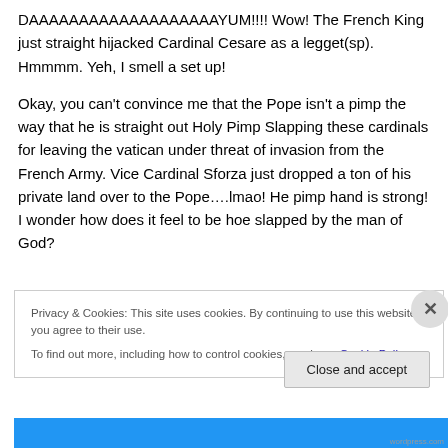DAAAAAAAAAAAAAAAAAAAYUM!!!! Wow! The French King just straight hijacked Cardinal Cesare as a legget(sp). Hmmmm. Yeh, I smell a set up!
Okay, you can't convince me that the Pope isn't a pimp the way that he is straight out Holy Pimp Slapping these cardinals for leaving the vatican under threat of invasion from the French Army. Vice Cardinal Sforza just dropped a ton of his private land over to the Pope….lmao! He pimp hand is strong! I wonder how does it feel to be hoe slapped by the man of God?
Privacy & Cookies: This site uses cookies. By continuing to use this website, you agree to their use.
To find out more, including how to control cookies, see here: Cookie Policy
Close and accept